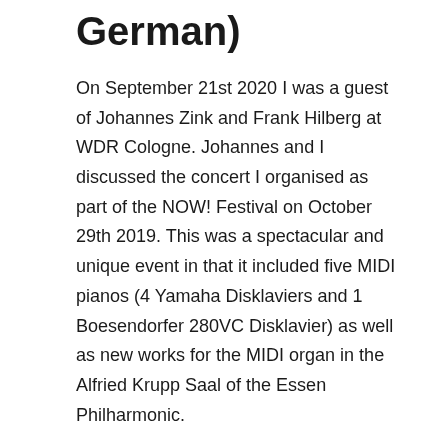German)
On September 21st 2020 I was a guest of Johannes Zink and Frank Hilberg at WDR Cologne. Johannes and I discussed the concert I organised as part of the NOW! Festival on October 29th 2019. This was a spectacular and unique event in that it included five MIDI pianos (4 Yamaha Disklaviers and 1 Boesendorfer 280VC Disklavier) as well as new works for the MIDI organ in the Alfried Krupp Saal of the Essen Philharmonic.
Clarence Barlow kindly extended his MIDI versions of his own works and those of Nancarrow to the players of the particle